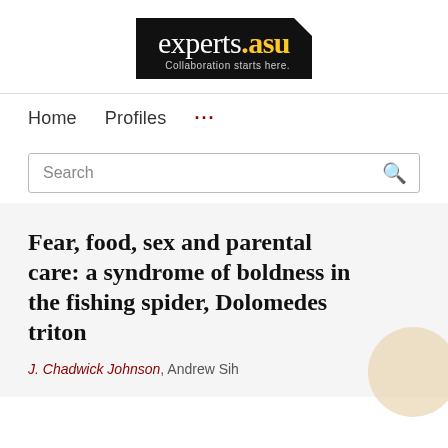[Figure (logo): experts.asu logo — black rectangle with white serif text 'experts' and yellow '.asu', subtitle 'Collaboration starts here.']
Home   Profiles   ...
Search
Fear, food, sex and parental care: a syndrome of boldness in the fishing spider, Dolomedes triton
J. Chadwick Johnson, Andrew Sih